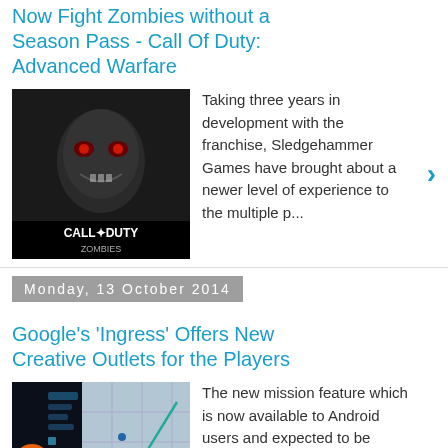Now Fight Zombies without a Season Pass - Call Of Duty: Advanced Warfare
Taking three years in development with the franchise, Sledgehammer Games have brought about a newer level of experience to the multiple p...
Monday, 13 October 2014
Google's 'Ingress' Offers New Creative Outlets for the Players
The new mission feature which is now available to Android users and expected to be available on iOS soon, is a feature announced by Goog...
Sunday, 5 October 2014
Reasons of Setbacks for the Launching Of Xbox One
Microsoft has kept on waiting until practically the...